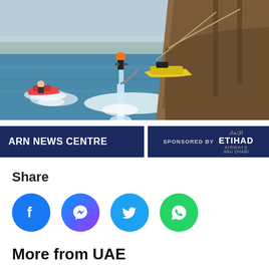[Figure (photo): A person riding a flyboard (water jetpack) above the sea near a large wooden dhow boat, with a yellow speedboat in the background. Taken in a UAE harbor/port area.]
[Figure (other): ARN News Centre banner with navy blue background on the left side showing 'ARN NEWS CENTRE' in white bold text, and on the right side a 'SPONSORED BY ETIHAD AIRWAYS' logo on navy blue background.]
Share
[Figure (infographic): Four social media share icons: Facebook (blue circle with F), Messenger (gradient circle with lightning bolt), Twitter (light blue circle with bird), WhatsApp (green circle with phone handset).]
More from UAE